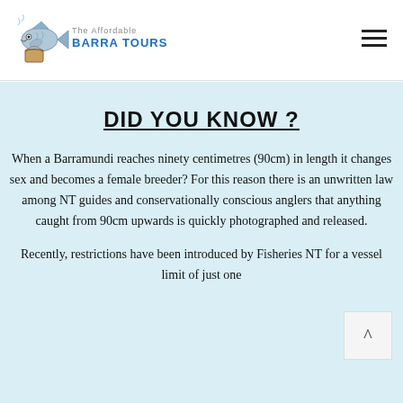[Figure (logo): Barra Tours logo with fish illustration and blue bold text reading BARRA TOURS]
DID YOU KNOW ?
When a Barramundi reaches ninety centimetres (90cm) in length it changes sex and becomes a female breeder? For this reason there is an unwritten law among NT guides and conservationally conscious anglers that anything caught from 90cm upwards is quickly photographed and released.
Recently, restrictions have been introduced by Fisheries NT for a vessel limit of just one